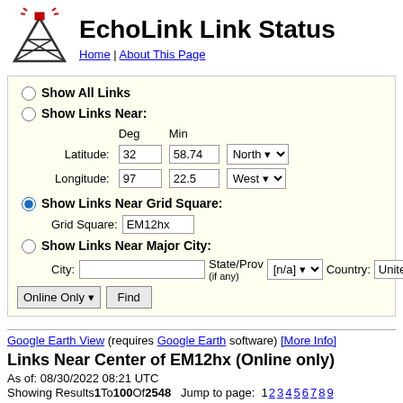EchoLink Link Status
Home | About This Page
Show All Links
Show Links Near:
Deg Min
Latitude: 32 58.74 North
Longitude: 97 22.5 West
Show Links Near Grid Square:
Grid Square: EM12hx
Show Links Near Major City:
City: State/Prov (if any): [n/a] Country: United S
Online Only  Find
Google Earth View (requires Google Earth software) [More Info]
Links Near Center of EM12hx (Online only)
As of: 08/30/2022 08:21 UTC
Showing Results 1 To 100 Of 2548   Jump to page: 1 2 3 4 5 6 7 8 9